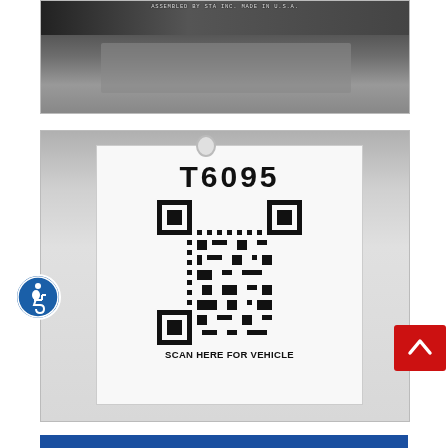[Figure (photo): Close-up photo of a vehicle part/panel with a label reading 'ASSEMBLED BY STA INC. MADE IN U.S.A.' on a dark metallic surface]
[Figure (photo): Photo of a white label card showing 'T6095' in large bold text, a QR code below it, and text reading 'SCAN HERE FOR VEHICLE' at the bottom. An accessibility icon (wheelchair symbol in blue circle) overlaps the left side, and a red scroll-to-top button overlaps the lower right.]
[Figure (other): Partial blue bar/header at the very bottom of the page]